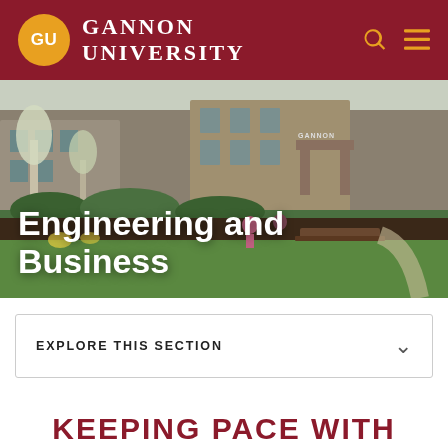GU Gannon University
[Figure (photo): Outdoor campus photo showing Gannon University building, trees with white blossoms, students sitting at picnic tables on a green lawn, with Gannon entrance arch visible in background.]
Engineering and Business
EXPLORE THIS SECTION
KEEPING PACE WITH